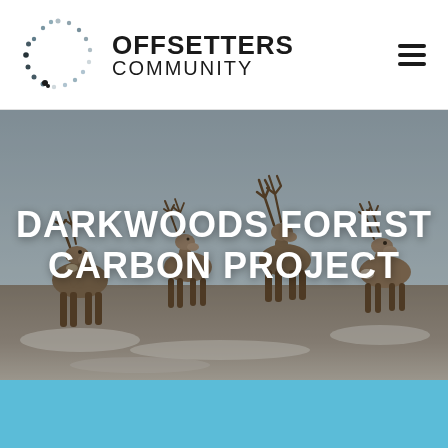[Figure (logo): Offsetters Community logo: dotted circle with text OFFSETTERS COMMUNITY]
DARKWOODS FOREST CARBON PROJECT
[Figure (photo): Photo of four caribou/reindeer standing on snowy/rocky ground against a grey sky, with the title DARKWOODS FOREST CARBON PROJECT overlaid in white bold text]
[Figure (other): Solid light blue horizontal bar at the bottom of the page]